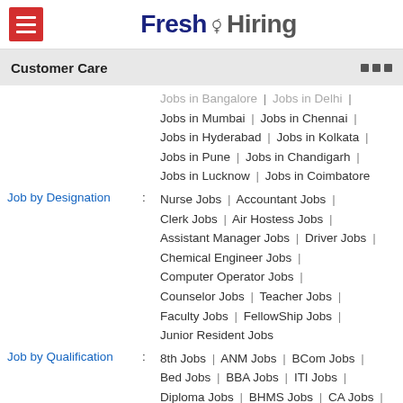Fresh Hiring
Customer Care
Jobs in Bangalore | Jobs in Delhi | Jobs in Mumbai | Jobs in Chennai | Jobs in Hyderabad | Jobs in Kolkata | Jobs in Pune | Jobs in Chandigarh | Jobs in Lucknow | Jobs in Coimbatore
Job by Designation : Nurse Jobs | Accountant Jobs | Clerk Jobs | Air Hostess Jobs | Assistant Manager Jobs | Driver Jobs | Chemical Engineer Jobs | Computer Operator Jobs | Counselor Jobs | Teacher Jobs | Faculty Jobs | FellowShip Jobs | Junior Resident Jobs
Job by Qualification : 8th Jobs | ANM Jobs | BCom Jobs | Bed Jobs | BBA Jobs | ITI Jobs | Diploma Jobs | BHMS Jobs | CA Jobs |